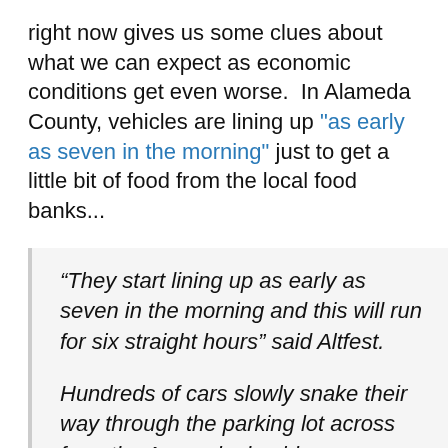right now gives us some clues about what we can expect as economic conditions get even worse. In Alameda County, vehicles are lining up "as early as seven in the morning" just to get a little bit of food from the local food banks...
“They start lining up as early as seven in the morning and this will run for six straight hours” said Altfest.
Hundreds of cars slowly snake their way through the parking lot across from the Acura dealership